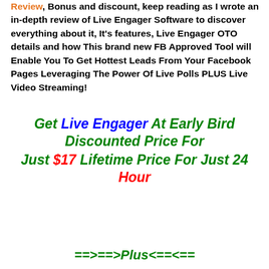Review, Bonus and discount, keep reading as I wrote an in-depth review of Live Engager Software to discover everything about it, It's features, Live Engager OTO details and how This brand new FB Approved Tool will Enable You To Get Hottest Leads From Your Facebook Pages Leveraging The Power Of Live Polls PLUS Live Video Streaming!
Get Live Engager At Early Bird Discounted Price For Just $17 Lifetime Price For Just 24 Hour
==>==> Plus <==<==